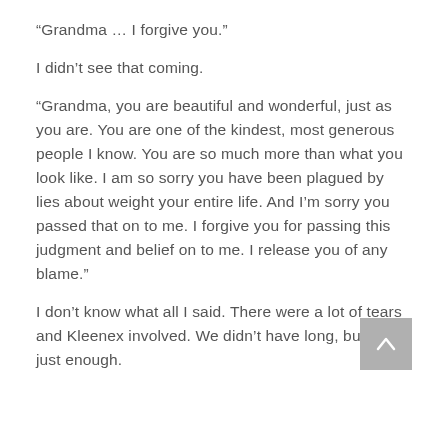“Grandma … I forgive you.”
I didn’t see that coming.
“Grandma, you are beautiful and wonderful, just as you are. You are one of the kindest, most generous people I know. You are so much more than what you look like. I am so sorry you have been plagued by lies about weight your entire life. And I’m sorry you passed that on to me. I forgive you for passing this judgment and belief on to me. I release you of any blame.”
I don’t know what all I said. There were a lot of tears and Kleenex involved. We didn’t have long, but it was just enough.